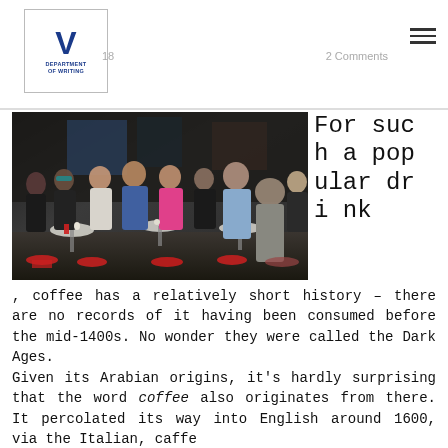Department of Writing — header with logo, date, comment link, hamburger menu
[Figure (photo): Photograph of a group of people sitting outside a café on stools and chairs at small round tables, in a street scene. People of various ages are visible, some talking, some eating or drinking. The image is in color with a dark atmospheric tone.]
For such a popular drink, coffee has a relatively short history – there are no records of it having been consumed before the mid-1400s. No wonder they were called the Dark Ages.
Given its Arabian origins, it's hardly surprising that the word coffee also originates from there. It percolated its way into English around 1600, via the Italian, caffe